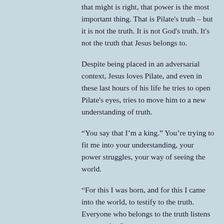that might is right, that power is the most important thing.  That is Pilate's truth – but it is not the truth.  It is not God's truth.  It's not the truth that Jesus belongs to.
Despite being placed in an adversarial context, Jesus loves Pilate, and even in these last hours of his life he tries to open Pilate's eyes, tries to move him to a new understanding of truth.
“You say that I’m a king.”  You’re trying to fit me into your understanding, your power struggles, your way of seeing the world.
“For this I was born, and for this I came into the world, to testify to the truth.  Everyone who belongs to the truth listens to my voice.”